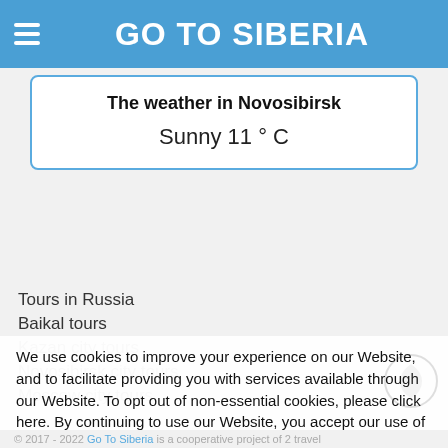GO TO SIBERIA
The weather in Novosibirsk
Sunny 11 ° C
Tours in Russia
Baikal tours
Kazan city tours
Novosibirsk city tours
Moscow city tours
We use cookies to improve your experience on our Website, and to facilitate providing you with services available through our Website. To opt out of non-essential cookies, please click here. By continuing to use our Website, you accept our use of cookies, the terms of our Privacy Policy and Terms of Service.
Ok
© 2017 - 2022 Go To Siberia is a cooperative project of 2 travel